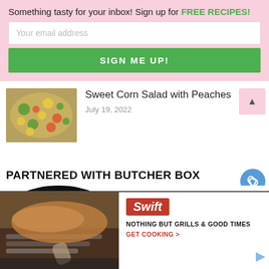Something tasty for your inbox! Sign up for FREE RECIPES!
Your email address
SIGN ME UP!
[Figure (photo): Colorful sweet corn salad with peaches, vegetables and herbs on a wooden board]
Sweet Corn Salad with Peaches
July 19, 2022
PARTNERED WITH BUTCHER BOX
[Figure (photo): Dark circular image partial, bottom section with dark bar overlay — food bowl]
[Figure (photo): Grilled meat on grill grates with tongs, Swift advertisement]
Swift
NOTHING BUT GRILLS & GOOD TIMES
GET COOKING >